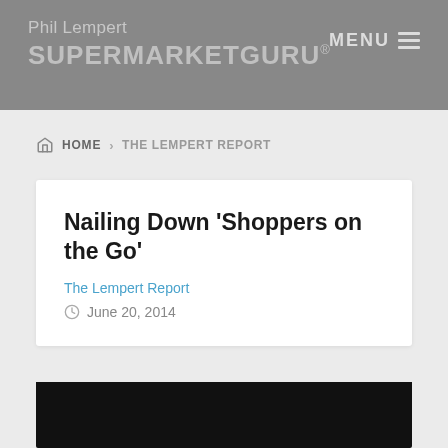Phil Lempert SUPERMARKETGURU® MENU
HOME > THE LEMPERT REPORT
Nailing Down 'Shoppers on the Go'
The Lempert Report
June 20, 2014
[Figure (photo): Dark/black image area at bottom of page, likely a video thumbnail or photo]